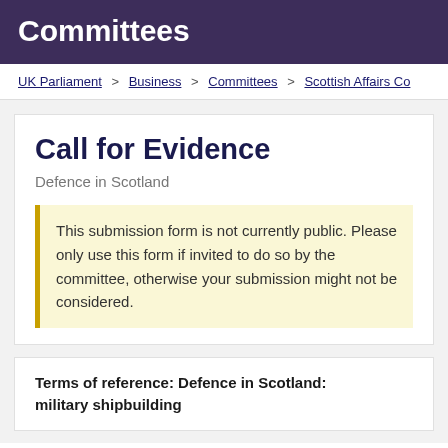Committees
UK Parliament > Business > Committees > Scottish Affairs Co
Call for Evidence
Defence in Scotland
This submission form is not currently public. Please only use this form if invited to do so by the committee, otherwise your submission might not be considered.
Terms of reference: Defence in Scotland: military shipbuilding